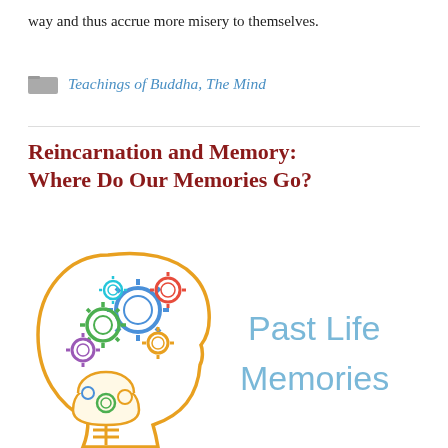way and thus accrue more misery to themselves.
Teachings of Buddha, The Mind
Reincarnation and Memory: Where Do Our Memories Go?
[Figure (illustration): Illustration of a human head profile (outline) with colorful gears inside the brain area and a light bulb at the bottom, representing past life memories. Text 'Past Life Memories' appears to the right in light blue.]